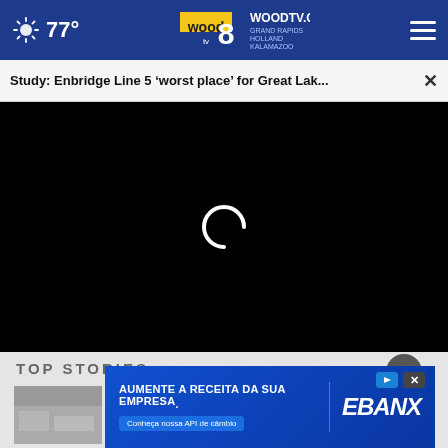77° WOODTV.COM GRAND RAPIDS HOLLAND KALAMAZOO wood 8
Study: Enbridge Line 5 'worst place' for Great Lak... ×
[Figure (screenshot): Black video player area with a white loading spinner (arc/C shape) in the center, indicating buffering/loading state]
TOP STORIES
[Figure (photo): Small grayscale thumbnail image of a news story]
[Figure (infographic): EBANX advertisement banner with blue background. Text reads 'AUMENTE A RECEITA DA SUA EMPRESA.' with a CTA button 'Conheça nossa API de câmbio' and EBANX logo on the right side. Small play and X buttons in the top right corner.]